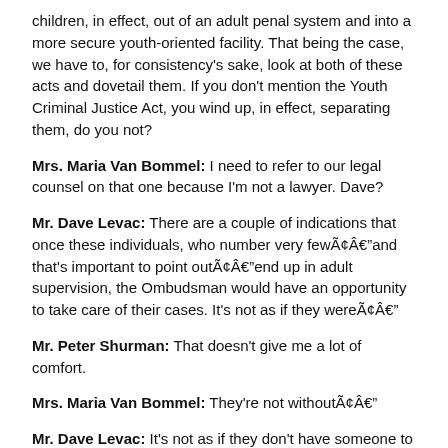children, in effect, out of an adult penal system and into a more secure youth-oriented facility. That being the case, we have to, for consistency's sake, look at both of these acts and dovetail them. If you don't mention the Youth Criminal Justice Act, you wind up, in effect, separating them, do you not?
Mrs. Maria Van Bommel: I need to refer to our legal counsel on that one because I'm not a lawyer. Dave?
Mr. Dave Levac: There are a couple of indications that once these individuals, who number very fewÃ¢Âand that's important to point outÃ¢Âend up in adult supervision, the Ombudsman would have an opportunity to take care of their cases. It's not as if they wereÃ¢Â
Mr. Peter Shurman: That doesn't give me a lot of comfort.
Mrs. Maria Van Bommel: They're not withoutÃ¢Â
Mr. Dave Levac: It's not as if they don't have someone to